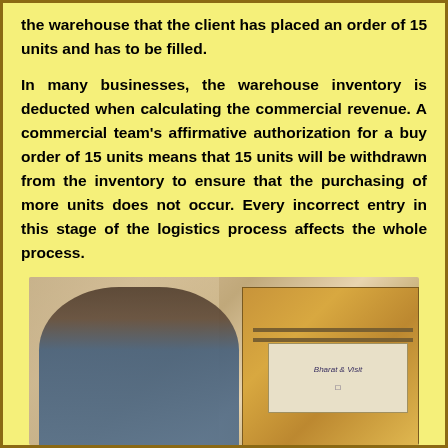the warehouse that the client has placed an order of 15 units and has to be filled.

In many businesses, the warehouse inventory is deducted when calculating the commercial revenue. A commercial team's affirmative authorization for a buy order of 15 units means that 15 units will be withdrawn from the inventory to ensure that the purchasing of more units does not occur. Every incorrect entry in this stage of the logistics process affects the whole process.
[Figure (photo): A warehouse worker (man with dark hair, looking down) in the foreground with cardboard shipping boxes stacked on the right side. Background shows a blurred warehouse interior with other workers.]